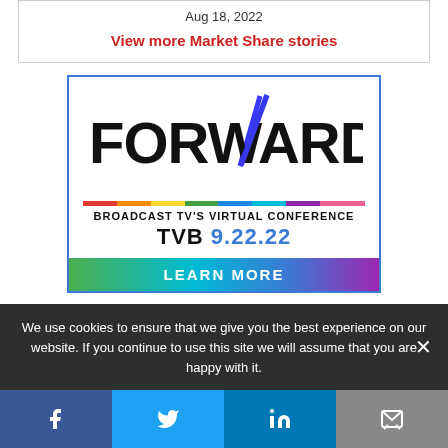Aug 18, 2022
View more Market Share stories
[Figure (logo): FORWARD Broadcast TV's Virtual Conference TVB 9.22.22 advertisement with LEARN MORE button and rainbow color bar]
We use cookies to ensure that we give you the best experience on our website. If you continue to use this site we will assume that you are happy with it.
Facebook | Twitter | LinkedIn | Email share buttons